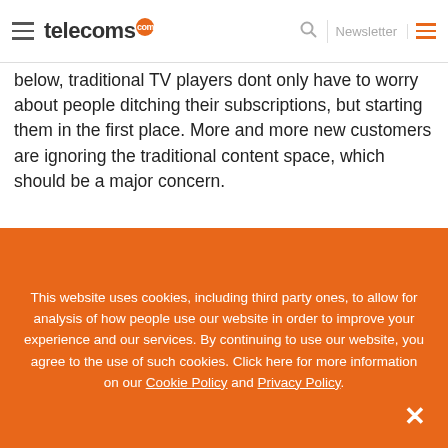telecoms.com — Newsletter
below, traditional TV players dont only have to worry about people ditching their subscriptions, but starting them in the first place. More and more new customers are ignoring the traditional content space, which should be a major concern.
[Figure (other): Distribution of Pay TV relationships over time chart showing percentages 8%, 6%, 5% and more columns visible at top]
This website uses cookies, including third party ones, to allow for analysis of how people use our website in order to improve your experience and our services. By continuing to use our website, you agree to the use of such cookies. Click here for more information on our Cookie Policy and Privacy Policy.